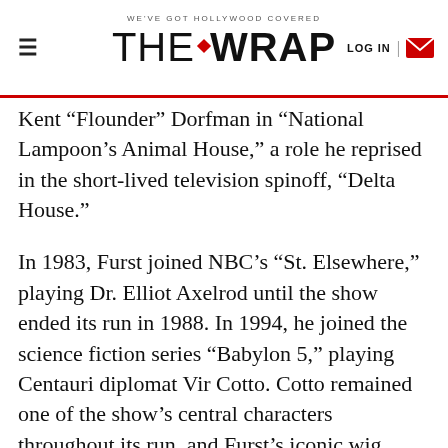WE'VE GOT HOLLYWOOD COVERED — THE WRAP — LOG IN
Kent “Flounder” Dorfman in “National Lampoon’s Animal House,” a role he reprised in the short-lived television spinoff, “Delta House.”
In 1983, Furst joined NBC’s “St. Elsewhere,” playing Dr. Elliot Axelrod until the show ended its run in 1988. In 1994, he joined the science fiction series “Babylon 5,” playing Centauri diplomat Vir Cotto. Cotto remained one of the show’s central characters throughout its run, and Furst’s iconic wig became a geek touchstone.
His other credits include “Midnight Madness,” “National Lampoon’s Class Reunion,” and “The Little Mermaid II: Return to the Sea,” as well as an